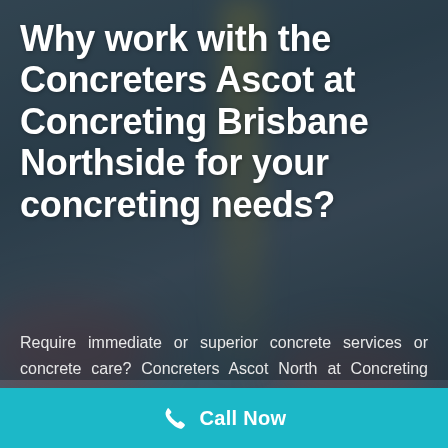Why work with the Concreters Ascot at Concreting Brisbane Northside for your concreting needs?
Require immediate or superior concrete services or concrete care? Concreters Ascot North at Concreting Brisbane Northside definitely will aid you. Concreters Ascot are highly suggested and are one of the top-
[Figure (other): Call Now button with phone icon on teal background bar at bottom of page]